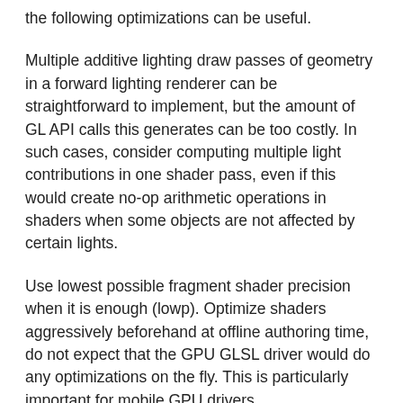the following optimizations can be useful.
Multiple additive lighting draw passes of geometry in a forward lighting renderer can be straightforward to implement, but the amount of GL API calls this generates can be too costly. In such cases, consider computing multiple light contributions in one shader pass, even if this would create no-op arithmetic operations in shaders when some objects are not affected by certain lights.
Use lowest possible fragment shader precision when it is enough (lowp). Optimize shaders aggressively beforehand at offline authoring time, do not expect that the GPU GLSL driver would do any optimizations on the fly. This is particularly important for mobile GPU drivers.
Sort renderables by target FBO first, then by shader program, and third to minimize any other needed GL